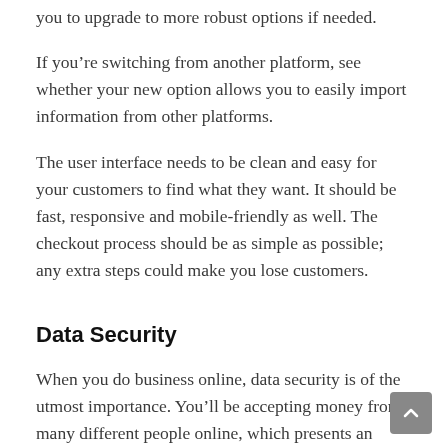you to upgrade to more robust options if needed.
If you’re switching from another platform, see whether your new option allows you to easily import information from other platforms.
The user interface needs to be clean and easy for your customers to find what they want. It should be fast, responsive and mobile-friendly as well. The checkout process should be as simple as possible; any extra steps could make you lose customers.
Data Security
When you do business online, data security is of the utmost importance. You’ll be accepting money from many different people online, which presents an